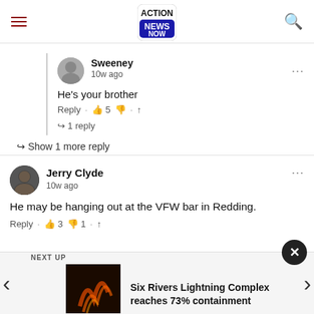Action News Now
Sweeney · 10w ago · He's your brother · Reply · 👍 5 👎 · ↑ · 1 reply
Show 1 more reply
Jerry Clyde · 10w ago · He may be hanging out at the VFW bar in Redding. · Reply · 👍 3 👎 1 · ↑
NEXT UP · Six Rivers Lightning Complex reaches 73% containment